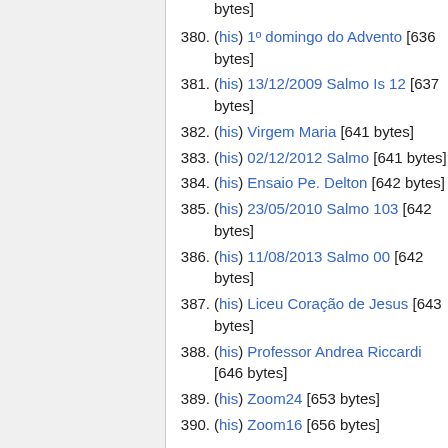bytes]
380. (his) 1º domingo do Advento [636 bytes]
381. (his) 13/12/2009 Salmo Is 12 [637 bytes]
382. (his) Virgem Maria [641 bytes]
383. (his) 02/12/2012 Salmo [641 bytes]
384. (his) Ensaio Pe. Delton [642 bytes]
385. (his) 23/05/2010 Salmo 103 [642 bytes]
386. (his) 11/08/2013 Salmo 00 [642 bytes]
387. (his) Liceu Coração de Jesus [643 bytes]
388. (his) Professor Andrea Riccardi [646 bytes]
389. (his) Zoom24 [653 bytes]
390. (his) Zoom16 [656 bytes]